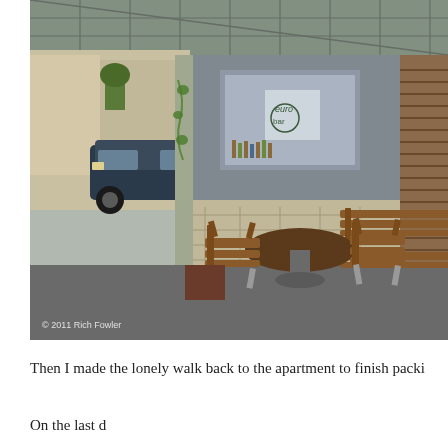[Figure (photo): Outdoor seating area of a Japanese bar/cafe called 'euro bar', with wooden chairs and tables under a translucent roof canopy. A dark sedan car is parked in the background left. The building facade shows a gray upper section with a window displaying a logo, and stone-textured lower section. A wooden slatted wall structure is on the right. Copyright watermark reads '© 2011 Rich Fowler' at the bottom left of the photo.]
Then I made the lonely walk back to the apartment to finish packi...
On the last day... (partial, cut off)